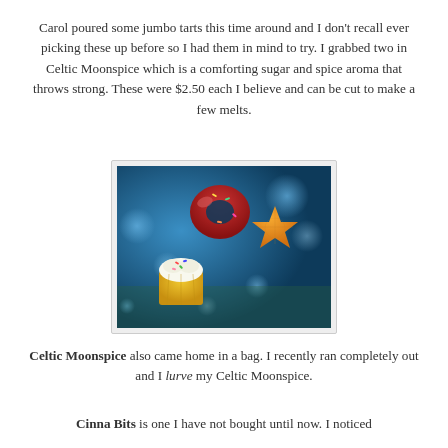[Figure (photo): Partial top edge of a photo showing blue bokeh background]
Carol poured some jumbo tarts this time around and I don't recall ever picking these up before so I had them in mind to try. I grabbed two in Celtic Moonspice which is a comforting sugar and spice aroma that throws strong. These were $2.50 each I believe and can be cut to make a few melts.
[Figure (photo): Product photo of wax melts: a red donut-shaped melt, an orange star-shaped melt, and a yellow cupcake-shaped melt, arranged on a blue shimmery background with bokeh lighting]
Celtic Moonspice also came home in a bag. I recently ran completely out and I lurve my Celtic Moonspice.
Cinna Bits is one I have not bought until now. I noticed